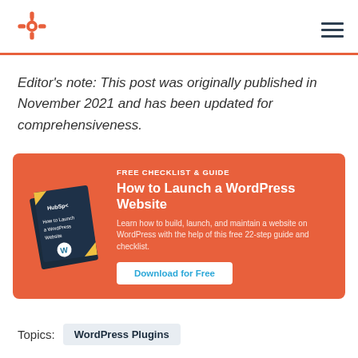HubSpot logo and navigation
Editor's note: This post was originally published in November 2021 and has been updated for comprehensiveness.
[Figure (infographic): Orange CTA banner promoting 'How to Launch a WordPress Website' free checklist and guide, with a book illustration on the left and a 'Download for Free' button.]
Topics: WordPress Plugins